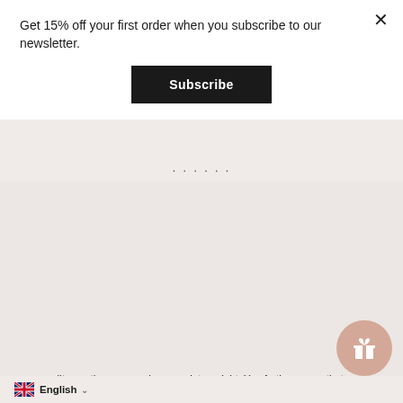Get 15% off your first order when you subscribe to our newsletter.
Subscribe
......
personality or other personal or proprietary right. You further agree that your comments will not contain libelous or otherwise unlawful, abusive or obscene material, or contain any computer virus or other malware that could in any way affect the operation of the Service or any related website. You may not use a false e-mail address, pretend to be someone other than yourself, or otherwise mislead us or third-parties as to the origin of any comments. You are solely responsible for any comments you make and their accuracy. We take no responsibility and assume no liability for any comments posted by you or any third-party.
SECTION 10 - PERSONAL INFORMATION
English